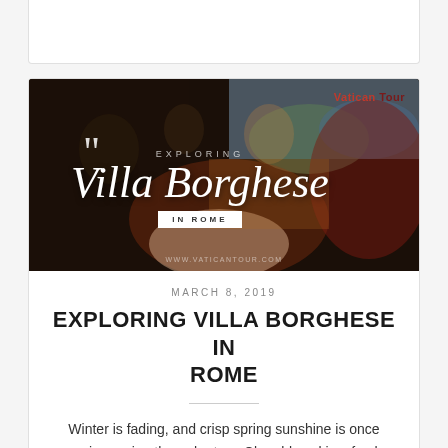[Figure (illustration): Top of a white card with border, partially visible at top of page]
[Figure (photo): Banner image of a Renaissance painting (Raphael's Entombment) with overlay text reading 'Exploring Villa Borghese in Rome'. Top right shows 'Vatican Tour' label. Large decorative quotation mark in white. Text 'IN ROME' in white box. URL www.vaticantour.com at bottom.]
MARCH 8, 2019
EXPLORING VILLA BORGHESE IN ROME
Winter is fading, and crisp spring sunshine is once again peering through at us. Clear blue skies, fresh blooms and